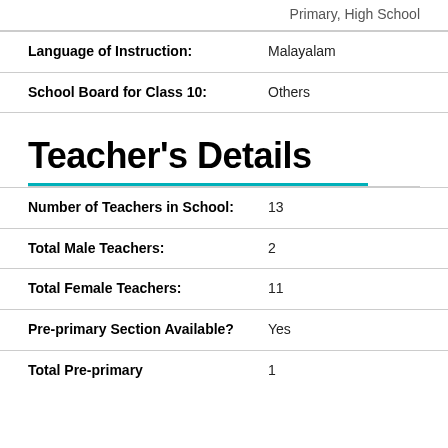| Field | Value |
| --- | --- |
| Language of Instruction: | Malayalam |
| School Board for Class 10: | Others |
Teacher's Details
| Field | Value |
| --- | --- |
| Number of Teachers in School: | 13 |
| Total Male Teachers: | 2 |
| Total Female Teachers: | 11 |
| Pre-primary Section Available? | Yes |
| Total Pre-primary | 1 |